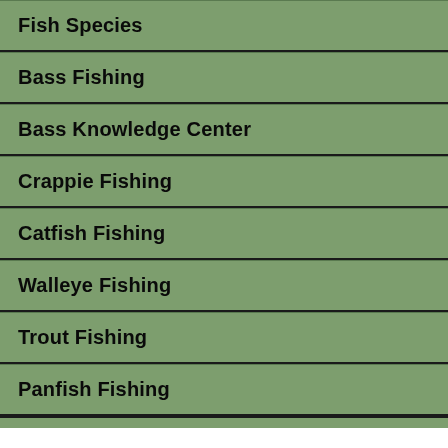Fish Species
Bass Fishing
Bass Knowledge Center
Crappie Fishing
Catfish Fishing
Walleye Fishing
Trout Fishing
Panfish Fishing